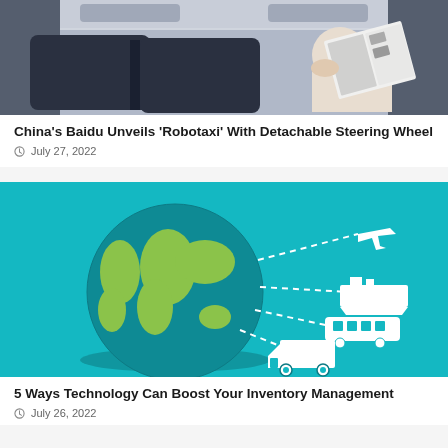[Figure (photo): Interior of a robotaxi vehicle showing a person reading a magazine in the passenger seat, with a detachable steering wheel visible]
China's Baidu Unveils 'Robotaxi' With Detachable Steering Wheel
July 27, 2022
[Figure (illustration): Teal background infographic showing a green globe with dotted lines connecting to white icons of an airplane, ship, train, and truck representing global logistics and inventory management]
5 Ways Technology Can Boost Your Inventory Management
July 26, 2022